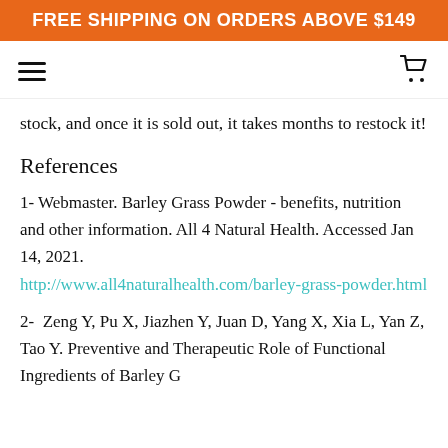FREE SHIPPING ON ORDERS ABOVE $149
stock, and once it is sold out, it takes months to restock it!
References
1- Webmaster. Barley Grass Powder - benefits, nutrition and other information. All 4 Natural Health. Accessed Jan 14, 2021. http://www.all4naturalhealth.com/barley-grass-powder.html
2-  Zeng Y, Pu X, Jiazhen Y, Juan D, Yang X, Xia L, Yan Z, Tao Y. Preventive and Therapeutic Role of Functional Ingredients of Barley G...